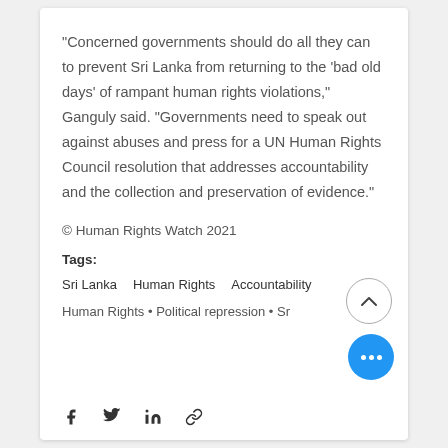“Concerned governments should do all they can to prevent Sri Lanka from returning to the ‘bad old days’ of rampant human rights violations,” Ganguly said. “Governments need to speak out against abuses and press for a UN Human Rights Council resolution that addresses accountability and the collection and preservation of evidence.”
© Human Rights Watch 2021
Tags:
Sri Lanka   Human Rights   Accountability
Human Rights • Political repression • Sr…